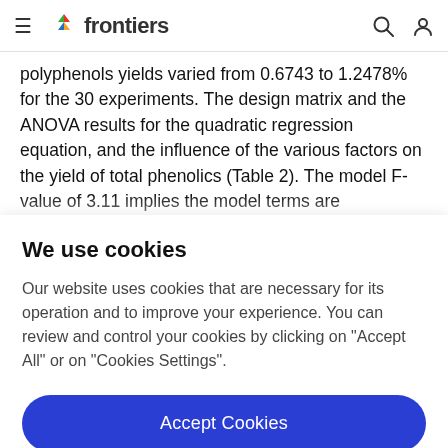frontiers
polyphenols yields varied from 0.6743 to 1.2478% for the 30 experiments. The design matrix and the ANOVA results for the quadratic regression equation, and the influence of the various factors on the yield of total phenolics (Table 2). The model F-value of 3.11 implies the model terms are
We use cookies
Our website uses cookies that are necessary for its operation and to improve your experience. You can review and control your cookies by clicking on "Accept All" or on "Cookies Settings".
Accept Cookies
Cookies Settings